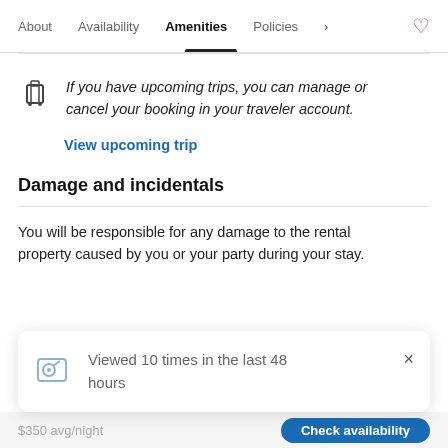About   Availability   Amenities   Policies
If you have upcoming trips, you can manage or cancel your booking in your traveler account.
View upcoming trip
Damage and incidentals
You will be responsible for any damage to the rental property caused by you or your party during your stay.
Viewed 10 times in the last 48 hours